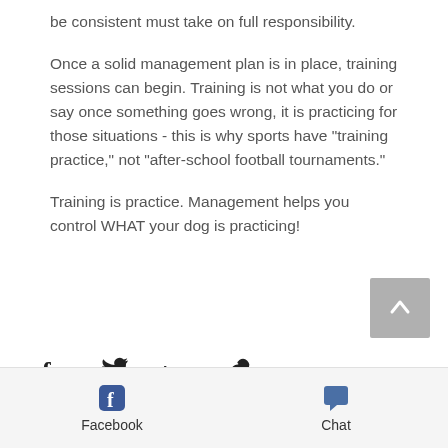be consistent must take on full responsibility.
Once a solid management plan is in place, training sessions can begin. Training is not what you do or say once something goes wrong, it is practicing for those situations - this is why sports have "training practice," not "after-school football tournaments."
Training is practice. Management helps you control WHAT your dog is practicing!
[Figure (other): Social share icons: Facebook, Twitter, LinkedIn, and link/chain icon]
Facebook  Chat